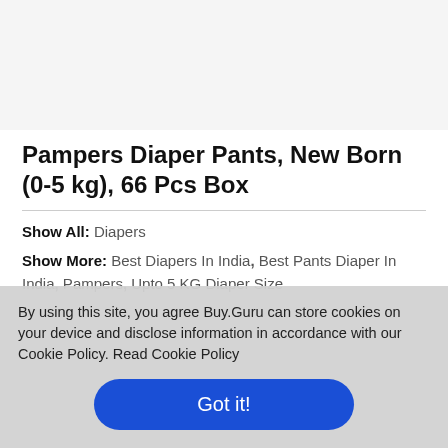[Figure (photo): Product image area, light gray background]
Pampers Diaper Pants, New Born (0-5 kg), 66 Pcs Box
Show All: Diapers
Show More: Best Diapers In India, Best Pants Diaper In India, Pampers, Upto 5 KG Diaper Size
By using this site, you agree Buy.Guru can store cookies on your device and disclose information in accordance with our Cookie Policy. Read Cookie Policy
Got it!